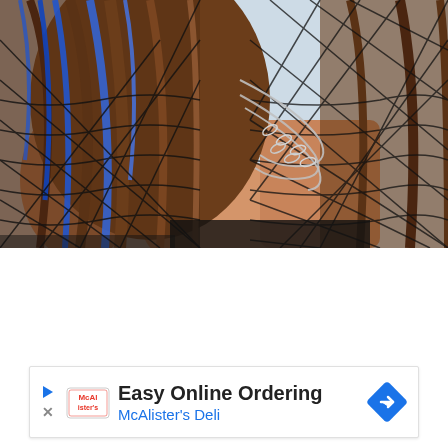[Figure (photo): A person with long brown hair with blue highlights, wearing a black fishnet top and multiple silver chain necklaces, photographed against a light blue/grey background. Only the upper body and part of the head visible.]
[Figure (other): Advertisement banner for McAlister's Deli featuring 'Easy Online Ordering' text, McAlister's logo, a play button icon, a close (X) button, and a blue diamond-shaped arrow icon on the right.]